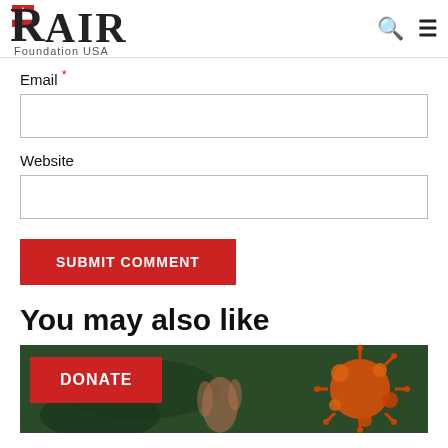RAIR Foundation USA
Email *
Website
SUBMIT COMMENT
You may also like
[Figure (illustration): Thumbnail image with a virus/coronavirus illustration on dark green background, with a DONATE button overlay]
DONATE